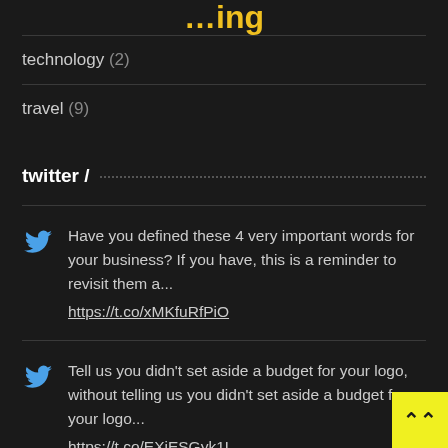…ing
technology (2)
travel (9)
twitter /
Have you defined these 4 very important words for your business? If you have, this is a reminder to revisit them a... https://t.co/xMKfuRfPiO
Tell us you didn't set aside a budget for your logo, without telling us you didn't set aside a budget for your logo... https://t.co/EXiESGyk1L